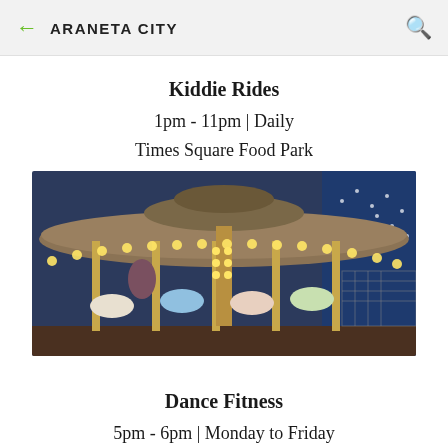← ARANETA CITY 🔍
Kiddie Rides
1pm - 11pm | Daily
Times Square Food Park
[Figure (photo): A colorful illuminated carousel with decorated horses and bright lights, photographed at dusk outdoors at Times Square Food Park, Araneta City.]
Dance Fitness
5pm - 6pm | Monday to Friday